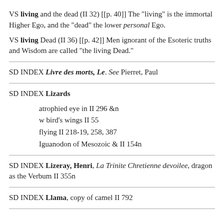VS living and the dead (II 32) [[p. 40]] The "living" is the immortal Higher Ego, and the "dead" the lower personal Ego.
VS living Dead (II 36) [[p. 42]] Men ignorant of the Esoteric truths and Wisdom are called "the living Dead."
SD INDEX Livre des morts, Le. See Pierret, Paul
SD INDEX Lizards
atrophied eye in II 296 &n
w bird's wings II 55
flying II 218-19, 258, 387
Iguanodon of Mesozoic & II 154n
SD INDEX Lizeray, Henri, La Trinite Chretienne devoilee, dragon as the Verbum II 355n
SD INDEX Llama, copy of camel II 792